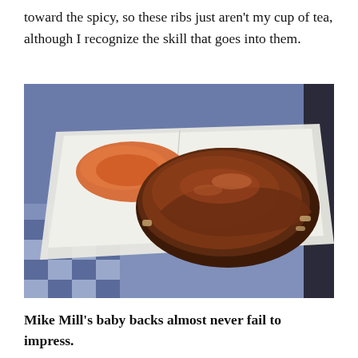toward the spicy, so these ribs just aren't my cup of tea, although I recognize the skill that goes into them.
[Figure (photo): BBQ ribs glazed with dark brown sauce on a white styrofoam tray, with a side of reddish-orange coleslaw or sauce, placed on a blue and white checkered cloth.]
Mike Mill's baby backs almost never fail to impress. They have all the qualities of the expertly smoked ribs of